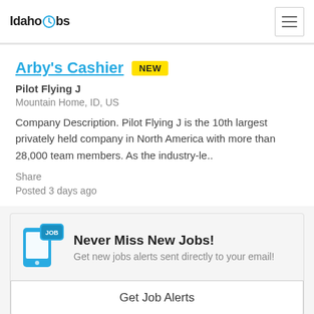IdahoJobs
Arby's Cashier NEW
Pilot Flying J
Mountain Home, ID, US
Company Description. Pilot Flying J is the 10th largest privately held company in North America with more than 28,000 team members. As the industry-le..
Share
Posted 3 days ago
Never Miss New Jobs! Get new jobs alerts sent directly to your email!
Get Job Alerts